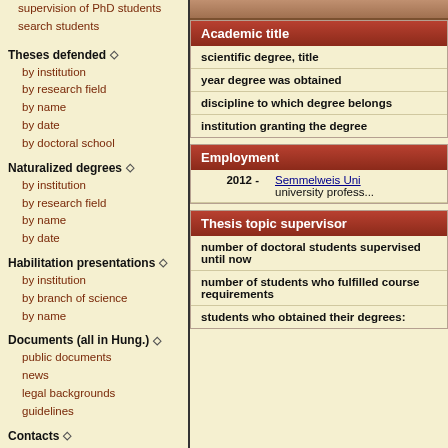supervision of PhD students
search students
Theses defended ◇
by institution
by research field
by name
by date
by doctoral school
Naturalized degrees ◇
by institution
by research field
by name
by date
Habilitation presentations ◇
by institution
by branch of science
by name
Documents (all in Hung.) ◇
public documents
news
legal backgrounds
guidelines
Contacts ◇
contact details
partners
Academic title
scientific degree, title
year degree was obtained
discipline to which degree belongs
institution granting the degree
Employment
| Year | Institution/Role |
| --- | --- |
| 2012 - | Semmelweis University professor |
Thesis topic supervisor
number of doctoral students supervised until now
number of students who fulfilled course requirements
students who obtained their degrees: